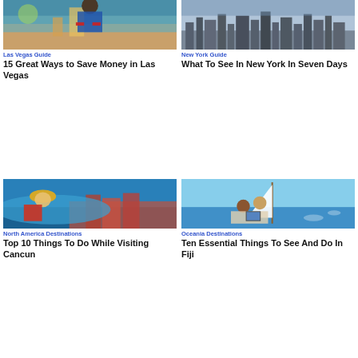[Figure (photo): Man in beanie hat holding playing cards, Las Vegas themed photo]
Las Vegas Guide
15 Great Ways to Save Money in Las Vegas
[Figure (photo): New York City skyline aerial view]
New York Guide
What To See In New York In Seven Days
[Figure (photo): Woman in hat with sunglasses overlooking coastal European city, Cancun travel]
North America Destinations
Top 10 Things To Do While Visiting Cancun
[Figure (photo): Two people on a sailboat looking at a tablet, Fiji ocean scene]
Oceania Destinations
Ten Essential Things To See And Do In Fiji